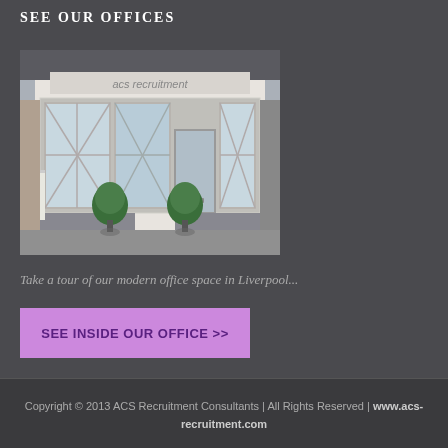SEE OUR OFFICES
[Figure (photo): Exterior photo of ACS Recruitment office building with white facade, large windows with diamond grid pattern, green topiary trees at entrance, and ACS Recruitment signage above the door]
Take a tour of our modern office space in Liverpool...
SEE INSIDE OUR OFFICE >>
Copyright © 2013 ACS Recruitment Consultants | All Rights Reserved | www.acs-recruitment.com